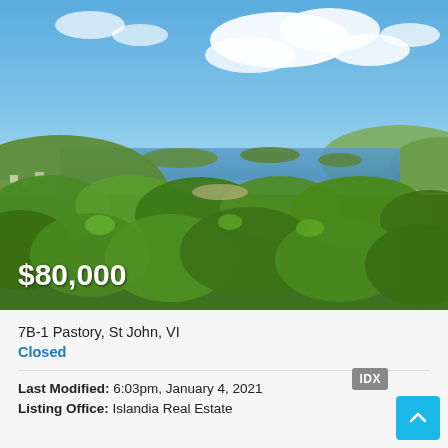[Figure (photo): Aerial/hillside landscape photo showing lush green tropical vegetation in the foreground, a bay with islands visible in the middle distance, and a partly cloudy blue sky above. The scene is St John, US Virgin Islands.]
$80,000
7B-1 Pastory, St John, VI
Closed
Last Modified: 6:03pm, January 4, 2021
Listing Office: Islandia Real Estate
[Figure (logo): IDX badge — grey rectangle with white text 'IDX']
[Figure (other): Cyan/blue scroll-to-top button with upward chevron arrow]